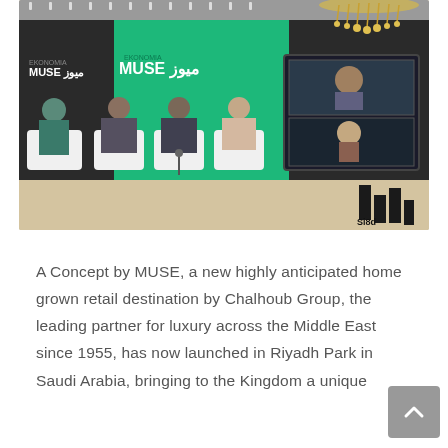[Figure (photo): Panel discussion at a MUSE (Ekonomia) event. Four panelists seated in white chairs on a stage with green and black branded backdrops reading 'EKONOMIA MUSE' in English and Arabic. A large screen on the right shows video conferencing participants. A decorative crystal chandelier hangs above. A 3D 'Si8d' Arabic letter sculpture is on the floor to the right.]
A Concept by MUSE, a new highly anticipated home grown retail destination by Chalhoub Group, the leading partner for luxury across the Middle East since 1955, has now launched in Riyadh Park in Saudi Arabia, bringing to the Kingdom a unique